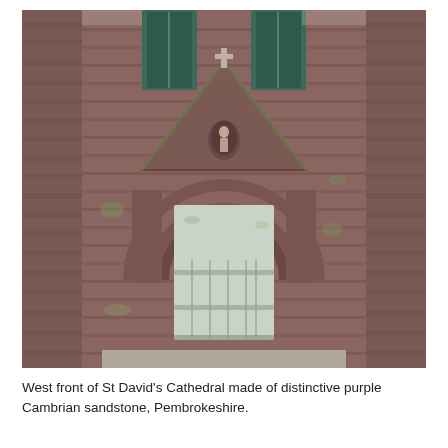[Figure (photo): West front of St David's Cathedral showing a large Romanesque arched doorway with multiple decorative stone voussoirs, a wooden door inside the arch, a Gothic gabled porch above with a statue of a figure in a niche and a cross at the apex, and tall stained glass windows behind. The building is constructed of distinctive purple-brown Cambrian sandstone with mossy patches. Flanking buttresses are visible on each side.]
West front of St David's Cathedral made of distinctive purple Cambrian sandstone, Pembrokeshire.